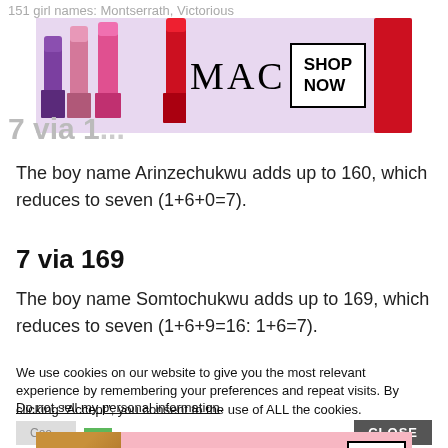[Figure (advertisement): MAC cosmetics ad banner with lipsticks in purple, pink, and red colors, MAC logo, and a SHOP NOW button]
The boy name Arinzechukwu adds up to 160, which reduces to seven (1+6+0=7).
7 via 169
The boy name Somtochukwu adds up to 169, which reduces to seven (1+6+9=16: 1+6=7).
We use cookies on our website to give you the most relevant experience by remembering your preferences and repeat visits. By clicking “Accept”, you consent to the use of ALL the cookies.
Do not sell my personal information.
[Figure (advertisement): Victoria's Secret ad banner with model photo, VS logo, SHOP THE COLLECTION text, and SHOP NOW button on pink background]